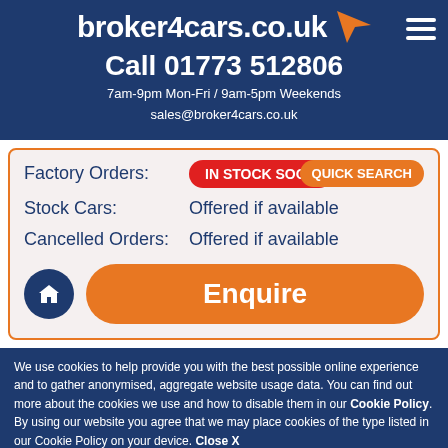broker4cars.co.uk
Call 01773 512806
7am-9pm Mon-Fri / 9am-5pm Weekends
sales@broker4cars.co.uk
| Item | Status |
| --- | --- |
| Factory Orders: | IN STOCK SOON |
| Stock Cars: | Offered if available |
| Cancelled Orders: | Offered if available |
[Figure (other): Enquire button with home icon]
We use cookies to help provide you with the best possible online experience and to gather anonymised, aggregate website usage data. You can find out more about the cookies we use and how to disable them in our Cookie Policy. By using our website you agree that we may place cookies of the type listed in our Cookie Policy on your device. Close X